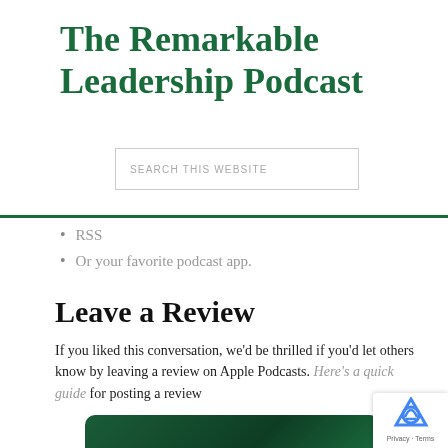The Remarkable Leadership Podcast
[Figure (other): Search input box with placeholder text 'SEARCH THIS WEBSITE']
RSS
Or your favorite podcast app.
Leave a Review
If you liked this conversation, we'd be thrilled if you'd let others know by leaving a review on Apple Podcasts. Here's a quick guide for posting a review
[Figure (screenshot): Dark green promotional image for the podcast, partially visible at bottom of page]